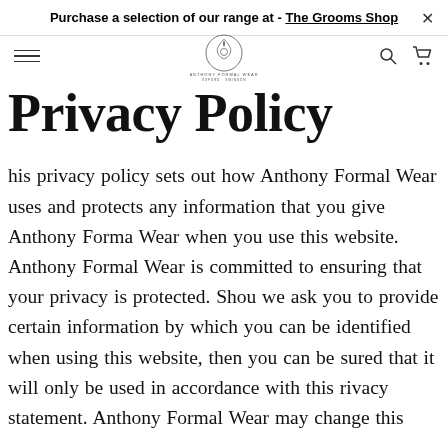Purchase a selection of our range at - The Grooms Shop ×
[Figure (logo): Anthony Formal Wear logo — circular emblem with decorative crest and text 'ANTHONY FORMAL WEAR / OXFORD · SWINDON']
Privacy Policy
This privacy policy sets out how Anthony Formal Wear uses and protects any information that you give Anthony Formal Wear when you use this website. Anthony Formal Wear is committed to ensuring that your privacy is protected. Should we ask you to provide certain information by which you can be identified when using this website, then you can be assured that it will only be used in accordance with this privacy statement. Anthony Formal Wear may change this